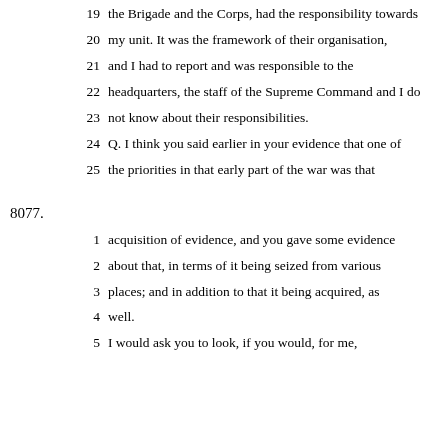19 the Brigade and the Corps, had the responsibility towards
20 my unit. It was the framework of their organisation,
21 and I had to report and was responsible to the
22 headquarters, the staff of the Supreme Command and I do
23 not know about their responsibilities.
24 Q. I think you said earlier in your evidence that one of
25 the priorities in that early part of the war was that
8077.
1 acquisition of evidence, and you gave some evidence
2 about that, in terms of it being seized from various
3 places; and in addition to that it being acquired, as
4 well.
5 I would ask you to look, if you would, for me,